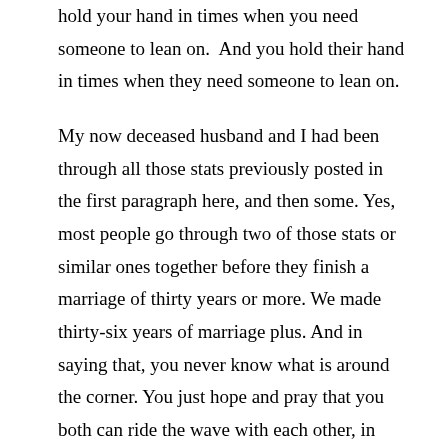hold your hand in times when you need someone to lean on.  And you hold their hand in times when they need someone to lean on.
My now deceased husband and I had been through all those stats previously posted in the first paragraph here, and then some. Yes, most people go through two of those stats or similar ones together before they finish a marriage of thirty years or more. We made thirty-six years of marriage plus. And in saying that, you never know what is around the corner. You just hope and pray that you both can ride the wave with each other, in whatever the other needs support in. And when you have children, it shouldn't change. It is still ‘till death do us part’.
In the end, there will always be divides, crevasses and the